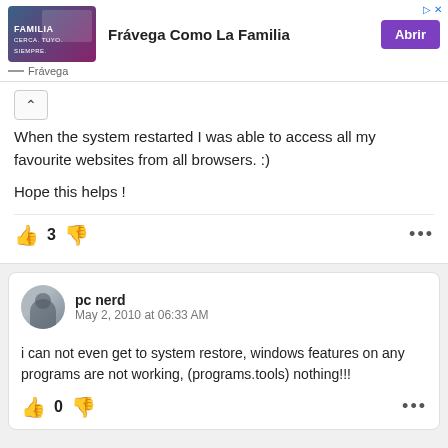[Figure (screenshot): Advertisement banner for Frávega Como La Familia with purple button labeled Abrir]
When the system restarted I was able to access all my favourite websites from all browsers. :)

Hope this helps !
👍 3 👎 •••
pc nerd
May 2, 2010 at 06:33 AM

i can not even get to system restore, windows features on any programs are not working, (programs.tools) nothing!!!

👍 0 👎 •••